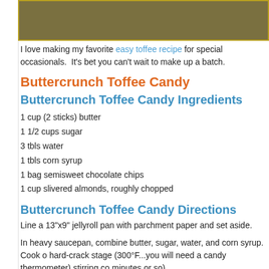[Figure (photo): Photo of toffee candy, olive/golden-brown textured background]
I love making my favorite easy toffee recipe for special occasionals.  It's bet you can't wait to make up a batch.
Buttercrunch Toffee Candy
Buttercrunch Toffee Candy Ingredients
1 cup (2 sticks) butter
1 1/2 cups sugar
3 tbls water
1 tbls corn syrup
1 bag semisweet chocolate chips
1 cup slivered almonds, roughly chopped
Buttercrunch Toffee Candy Directions
Line a 13"x9" jellyroll pan with parchment paper and set aside.
In heavy saucepan, combine butter, sugar, water, and corn syrup. Cook o hard-crack stage (300°F...you will need a candy thermometer) stirring co minutes or so).
Immediately pour onto prepared pan.  Sprinkle with chocolate chips and melt the chocolate.  Spread gently to cover cooling butter/sugar mixture. into chocolate. Let stand 2-3 hours or chill 30 minutes. Break into bite-siz